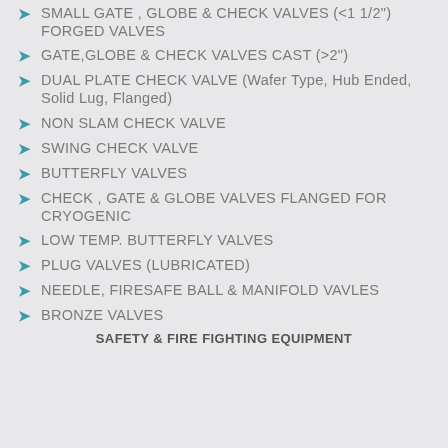SMALL GATE , GLOBE & CHECK VALVES  (<1 1/2") FORGED VALVES
GATE,GLOBE & CHECK VALVES CAST (>2")
DUAL PLATE CHECK VALVE (Wafer Type, Hub Ended, Solid Lug, Flanged)
NON SLAM CHECK VALVE
SWING CHECK VALVE
BUTTERFLY VALVES
CHECK , GATE & GLOBE VALVES FLANGED FOR CRYOGENIC
LOW TEMP. BUTTERFLY VALVES
PLUG VALVES (LUBRICATED)
NEEDLE, FIRESAFE BALL & MANIFOLD VAVLES
BRONZE VALVES
SAFETY & FIRE FIGHTING EQUIPMENT